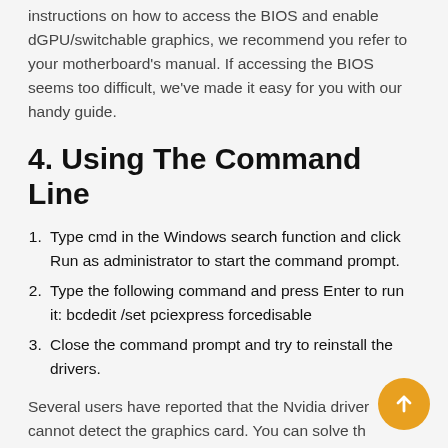instructions on how to access the BIOS and enable dGPU/switchable graphics, we recommend you refer to your motherboard's manual. If accessing the BIOS seems too difficult, we've made it easy for you with our handy guide.
4. Using The Command Line
Type cmd in the Windows search function and click Run as administrator to start the command prompt.
Type the following command and press Enter to run it: bcdedit /set pciexpress forcedisable
Close the command prompt and try to reinstall the drivers.
Several users have reported that the Nvidia driver cannot detect the graphics card. You can solve the problem by using the command line. If you are